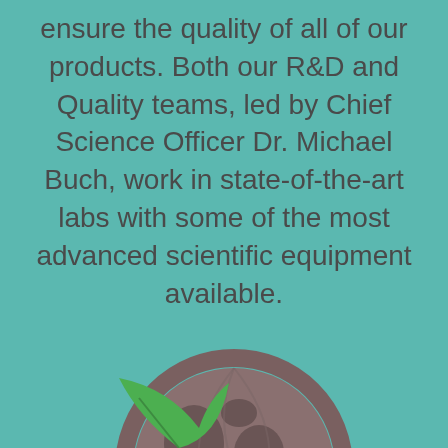ensure the quality of all of our products. Both our R&D and Quality teams, led by Chief Science Officer Dr. Michael Buch, work in state-of-the-art labs with some of the most advanced scientific equipment available.
[Figure (illustration): A globe with a green leaf icon, rendered in muted dark gray/brown tones, partially visible at the bottom of the page against a teal background.]